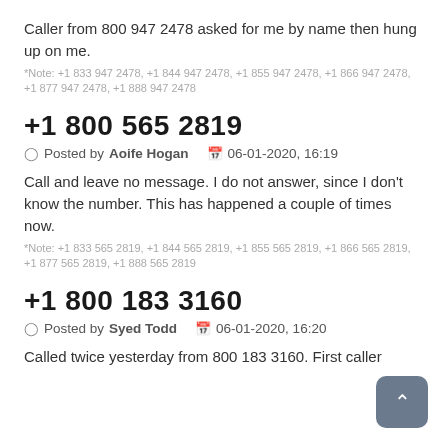Caller from 800 947 2478 asked for me by name then hung up on me.
*Note: +1 833 947 2478, +1 844 947 2478, +1 855 947 2478, +1 866 947 2478, +1 877 947 2478, +1 888 947 2478
+1 800 565 2819
Posted by Aoife Hogan   06-01-2020, 16:19
Call and leave no message. I do not answer, since I don't know the number. This has happened a couple of times now.
*Note: +1 833 565 2819, +1 844 565 2819, +1 855 565 2819, +1 866 565 2819, +1 877 565 2819, +1 888 565 2819
+1 800 183 3160
Posted by Syed Todd   06-01-2020, 16:20
Called twice yesterday from 800 183 3160. First caller